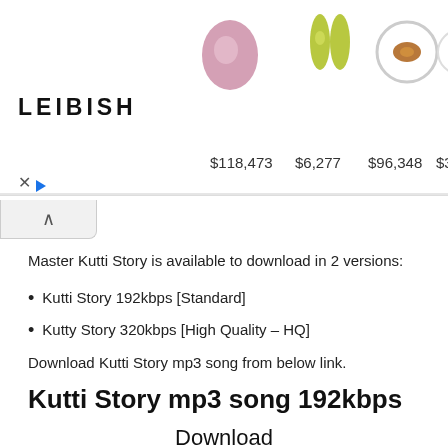[Figure (screenshot): LEIBISH jewelry advertisement banner showing gemstones and jewelry pieces with prices: $118,473, $6,277, $96,348, $32,168, $162,410]
Master Kutti Story is available to download in 2 versions:
Kutti Story 192kbps [Standard]
Kutty Story 320kbps [High Quality – HQ]
Download Kutti Story mp3 song from below link.
Kutti Story mp3 song 192kbps
Download